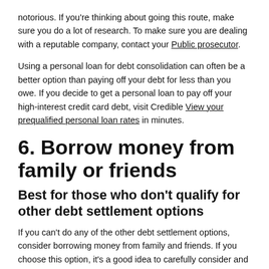notorious. If you're thinking about going this route, make sure you do a lot of research. To make sure you are dealing with a reputable company, contact your Public prosecutor.
Using a personal loan for debt consolidation can often be a better option than paying off your debt for less than you owe. If you decide to get a personal loan to pay off your high-interest credit card debt, visit Credible View your prequalified personal loan rates in minutes.
6. Borrow money from family or friends
Best for those who don't qualify for other debt settlement options
If you can't do any of the other debt settlement options, consider borrowing money from family and friends. If you choose this option, it's a good idea to carefully consider...